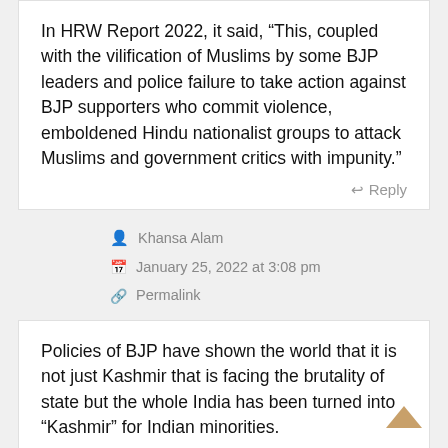In HRW Report 2022, it said, “This, coupled with the vilification of Muslims by some BJP leaders and police failure to take action against BJP supporters who commit violence, emboldened Hindu nationalist groups to attack Muslims and government critics with impunity.”
Reply
Khansa Alam
January 25, 2022 at 3:08 pm
Permalink
Policies of BJP have shown the world that it is not just Kashmir that is facing the brutality of state but the whole India has been turned into “Kashmir” for Indian minorities.